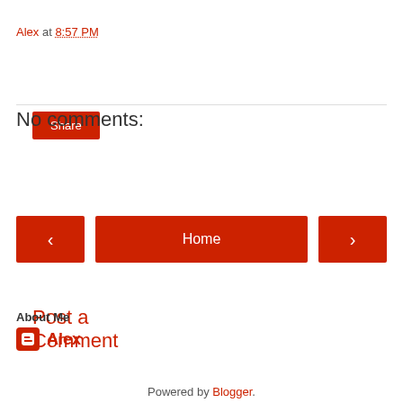Alex at 8:57 PM
Share
No comments:
Post a Comment
‹  Home  ›
View web version
About Me
Alex
View my complete profile
Powered by Blogger.